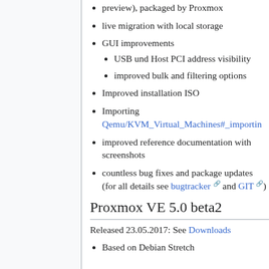preview), packaged by Proxmox
live migration with local storage
GUI improvements
USB und Host PCI address visibility
improved bulk and filtering options
Improved installation ISO
Importing Qemu/KVM_Virtual_Machines#_importing
improved reference documentation with screenshots
countless bug fixes and package updates (for all details see bugtracker and GIT)
Proxmox VE 5.0 beta2
Released 23.05.2017: See Downloads
Based on Debian Stretch